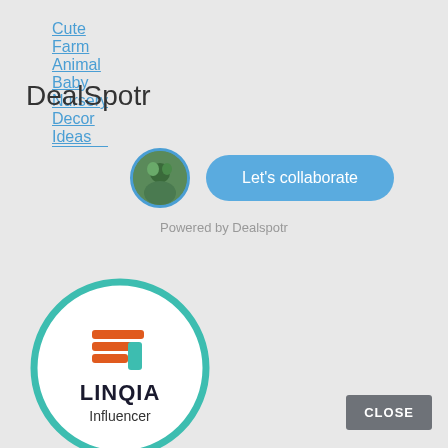Cute Farm Animal Baby Nursery Decor Ideas
DealSpotr
[Figure (illustration): Circular avatar photo of a person with blue border ring]
[Figure (other): Blue rounded rectangle button with text 'Let's collaborate']
Powered by Dealspotr
[Figure (logo): LINQIA Influencer logo inside a teal circle border. Logo shows orange and teal stacked horizontal lines forming a shopping cart icon, with text LINQIA Influencer below.]
CLOSE